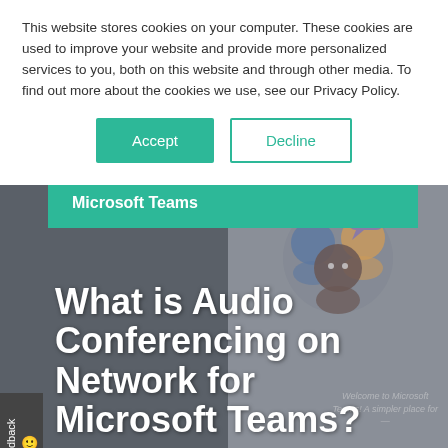This website stores cookies on your computer. These cookies are used to improve your website and provide more personalized services to you, both on this website and through other media. To find out more about the cookies we use, see our Privacy Policy.
[Figure (screenshot): Cookie consent banner with Accept and Decline buttons, followed by a Microsoft Teams branded hero section with title 'What is Audio Conferencing on Network for Microsoft Teams?' overlaid on a dark background with a Teams app screenshot showing illustrated people.]
What is Audio Conferencing on Network for Microsoft Teams?